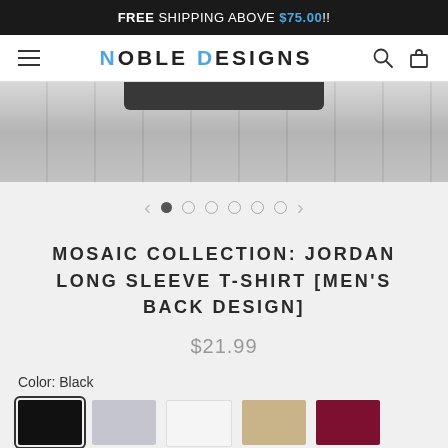FREE SHIPPING ABOVE $75.00!!
NOBLE DESIGNS
[Figure (photo): Product photo of a dark t-shirt on a wooden background, shown in grayscale]
MOSAIC COLLECTION: JORDAN LONG SLEEVE T-SHIRT [MEN'S BACK DESIGN]
$21.99
Color: Black